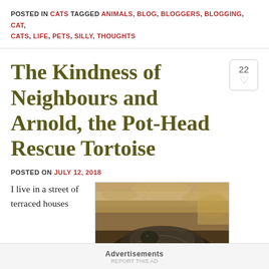POSTED IN CATS TAGGED ANIMALS, BLOG, BLOGGERS, BLOGGING, CAT, CATS, LIFE, PETS, SILLY, THOUGHTS
The Kindness of Neighbours and Arnold, the Pot-Head Rescue Tortoise
POSTED ON JULY 12, 2018
I live in a street of terraced houses
[Figure (photo): Close-up photo of a tortoise, showing its dark shell and head, with blurred natural background of brown earth and dried grass.]
Advertisements